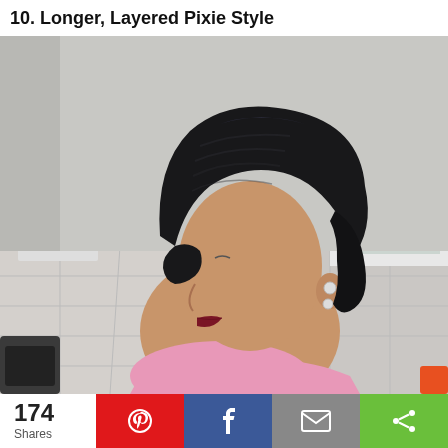10. Longer, Layered Pixie Style
[Figure (photo): Side profile of a woman with a longer layered black pixie cut hairstyle in a salon setting. She is wearing a pink top and earrings.]
174 Shares
[Figure (infographic): Social share bar with Pinterest (red), Facebook (blue), Email (gray), and Share (green) buttons.]